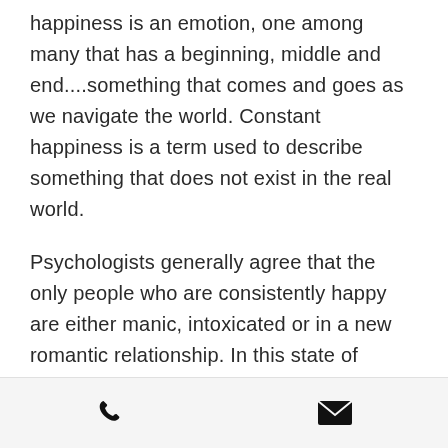happiness is an emotion, one among many that has a beginning, middle and end....something that comes and goes as we navigate the world. Constant happiness is a term used to describe something that does not exist in the real world.
Psychologists generally agree that the only people who are consistently happy are either manic, intoxicated or in a new romantic relationship. In this state of consciousness, people have a tendency to make unwise choices with lasting negative implications. It is also thought that while these people enjoy the ride while its happening, there is always a
[Figure (other): Mobile app footer bar with phone icon on the left and email/envelope icon on the right]